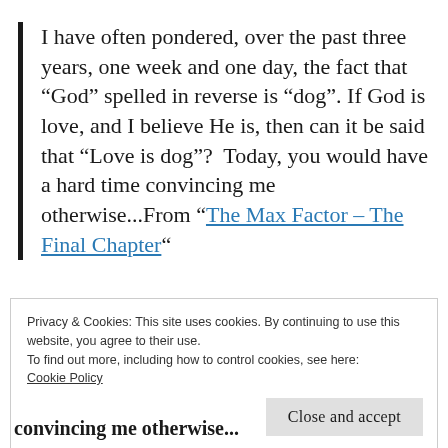I have often pondered, over the past three years, one week and one day, the fact that “God” spelled in reverse is “dog”. If God is love, and I believe He is, then can it be said that “Love is dog”?  Today, you would have a hard time convincing me otherwise...From “The Max Factor – The Final Chapter“
Privacy & Cookies: This site uses cookies. By continuing to use this website, you agree to their use.
To find out more, including how to control cookies, see here: Cookie Policy
convincing me otherwise...